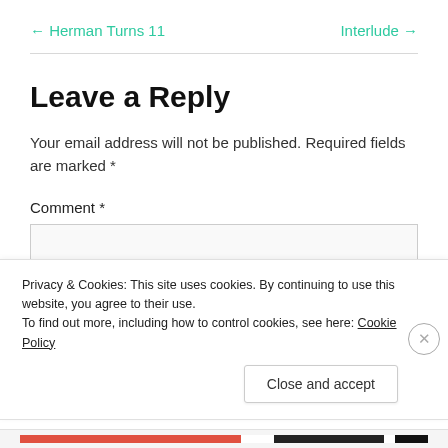← Herman Turns 11    Interlude →
Leave a Reply
Your email address will not be published. Required fields are marked *
Comment *
Privacy & Cookies: This site uses cookies. By continuing to use this website, you agree to their use.
To find out more, including how to control cookies, see here: Cookie Policy
Close and accept